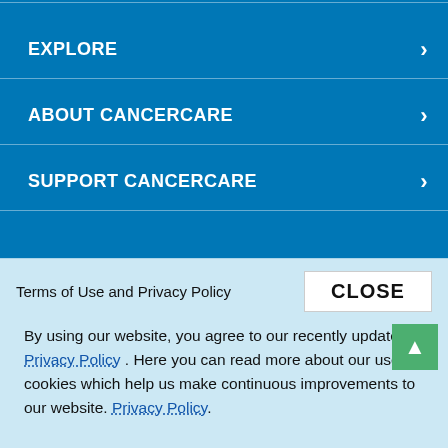EXPLORE
ABOUT CANCERCARE
SUPPORT CANCERCARE
Terms of Use and Privacy Policy
CLOSE
By using our website, you agree to our recently updated Privacy Policy . Here you can read more about our use of cookies which help us make continuous improvements to our website. Privacy Policy.
[Figure (logo): CANCERcare logo with CANCER in bold dark blue and 'care' in italic light blue]
▲